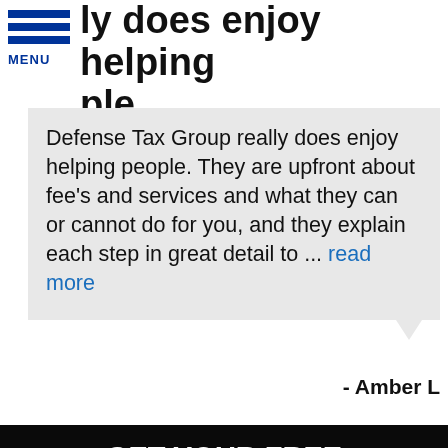ly does enjoy helping ple.
Defense Tax Group really does enjoy helping people. They are upfront about fee's and services and what they can or cannot do for you, and they explain each step in great detail to ... read more
- Amber L
GET YOUR FREE CONSULTATION
If you have any questions or comments please fill out the following form and one of our representatives will contact you as soon as possible.
Full Name